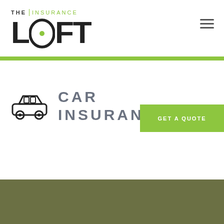[Figure (logo): The Insurance Loft logo — bold LOFT text with green dot in O, 'THE | INSURANCE' above]
[Figure (other): Hamburger menu icon (three horizontal lines)]
CAR INSURANCE
[Figure (illustration): Simple line-art car/van icon]
[Figure (other): GET A QUOTE button (green background, white text)]